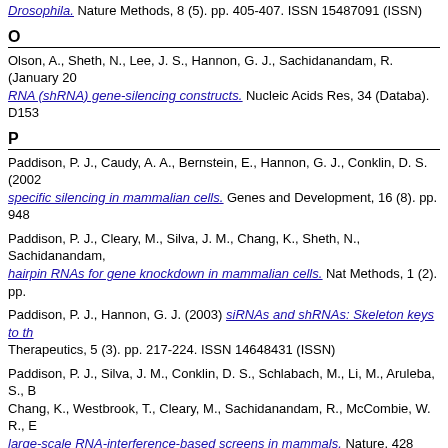Drosophila. Nature Methods, 8 (5). pp. 405-407. ISSN 15487091 (ISSN)
O
Olson, A., Sheth, N., Lee, J. S., Hannon, G. J., Sachidanandam, R. (January 20... RNA (shRNA) gene-silencing constructs. Nucleic Acids Res, 34 (Databa). D153...
P
Paddison, P. J., Caudy, A. A., Bernstein, E., Hannon, G. J., Conklin, D. S. (2002... specific silencing in mammalian cells. Genes and Development, 16 (8). pp. 948...
Paddison, P. J., Cleary, M., Silva, J. M., Chang, K., Sheth, N., Sachidanandam,... hairpin RNAs for gene knockdown in mammalian cells. Nat Methods, 1 (2). pp....
Paddison, P. J., Hannon, G. J. (2003) siRNAs and shRNAs: Skeleton keys to th... Therapeutics, 5 (3). pp. 217-224. ISSN 14648431 (ISSN)
Paddison, P. J., Silva, J. M., Conklin, D. S., Schlabach, M., Li, M., Aruleba, S., B... Chang, K., Westbrook, T., Cleary, M., Sachidanandam, R., McCombie, W. R., E... large-scale RNA-interference-based screens in mammals. Nature, 428 (6981)....
Premsrirut, P. K., Dow, L. E., Kim, S. Y., Camiolo, M., Malone, C. D., Miething, C... Scott C, Shroyer, Kenneth R, Sordella, R., Hannon, G. J., Lowe, S. W. (March 2... Function in Mice Using Conditional RNA Interference. Cell, 145 (1). pp. 145-158...
R